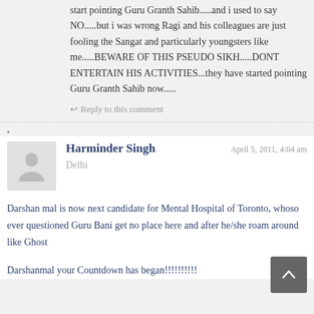start pointing Guru Granth Sahib.....and i used to say NO.....but i was wrong Ragi and his colleagues are just fooling the Sangat and particularly youngsters like me.....BEWARE OF THIS PSEUDO SIKH.....DONT ENTERTAIN HIS ACTIVITIES...they have started pointing Guru Granth Sahib now.....
↩ Reply to this comment
Harminder Singh
April 5, 2011, 4:04 am
Delhi
Darshan mal is now next candidate for Mental Hospital of Toronto, whoso ever questioned Guru Bani get no place here and after he/she roam around like Ghost
Darshanmal your Countdown has began!!!!!!!!!!